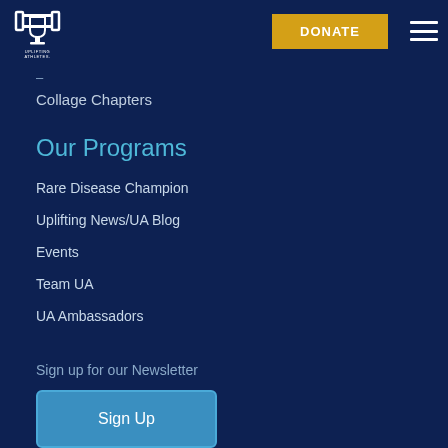[Figure (logo): Uplifting Athletes logo - white trophy/dumbbell icon with 'UPLIFTING ATHLETES' text below on dark navy background]
DONATE
- Collage Chapters
Our Programs
Rare Disease Champion
Uplifting News/UA Blog
Events
Team UA
UA Ambassadors
Sign up for our Newsletter
Sign Up